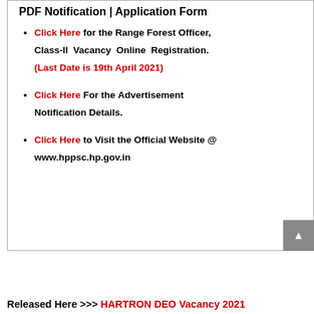PDF Notification | Application Form
Click Here for the Range Forest Officer, Class-II Vacancy Online Registration. (Last Date is 19th April 2021)
Click Here For the Advertisement Notification Details.
Click Here to Visit the Official Website @ www.hppsc.hp.gov.in
Released Here >>> HARTRON DEO Vacancy 2021